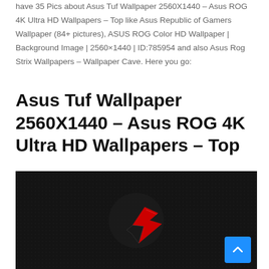have 35 Pics about Asus Tuf Wallpaper 2560X1440 – Asus ROG 4K Ultra HD Wallpapers – Top like Asus Republic of Gamers Wallpaper (84+ pictures), ASUS ROG Color HD Wallpaper | Background Image | 2560×1440 | ID:785954 and also Asus Rog Strix Wallpapers – Wallpaper Cave. Here you go:
Asus Tuf Wallpaper 2560X1440 – Asus ROG 4K Ultra HD Wallpapers – Top
[Figure (photo): Dark background with ASUS ROG Republic of Gamers logo in the center — a stylized eye/blade shape in red and black — on a near-black textured surface. A blue scroll-to-top button appears in the bottom-right corner.]